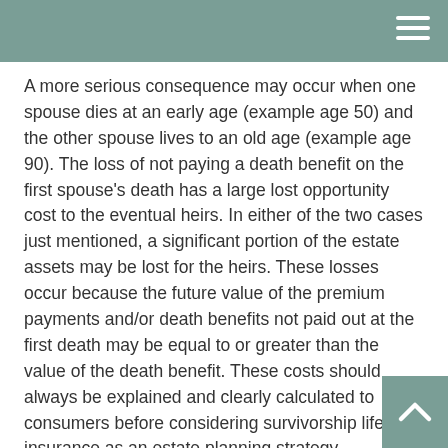A more serious consequence may occur when one spouse dies at an early age (example age 50) and the other spouse lives to an old age (example age 90). The loss of not paying a death benefit on the first spouse's death has a large lost opportunity cost to the eventual heirs. In either of the two cases just mentioned, a significant portion of the estate assets may be lost for the heirs. These losses occur because the future value of the premium payments and/or death benefits not paid out at the first death may be equal to or greater than the value of the death benefit. These costs should always be explained and clearly calculated to consumers before considering survivorship life insurance as an estate planning strategy.
We offer consumers many choices in the selection of a